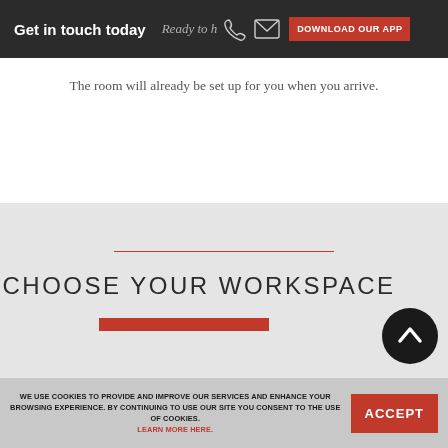Get in touch today | Ready to h... | DOWNLOAD OUR APP
The room will already be set up for you when you arrive.
CHOOSE YOUR WORKSPACE
WE USE COOKIES TO PROVIDE AND IMPROVE OUR SERVICES AND ENHANCE YOUR BROWSING EXPERIENCE. BY CONTINUING TO USE OUR SITE YOU CONSENT TO THE USE OF COOKIES. LEARN MORE HERE.